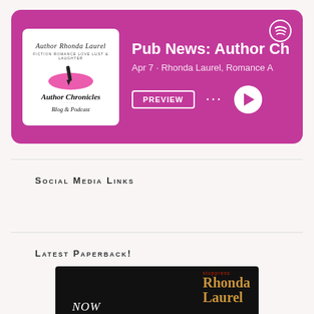[Figure (screenshot): Spotify podcast card for 'Author Chronicles Blog & Podcast' by Rhonda Laurel showing episode 'Pub News: Author Ch...' from Apr 7, with preview button, dots menu, and play button on pink/magenta background.]
SOCIAL MEDIA LINKS
LATEST PAPERBACK!
[Figure (photo): Dark promotional book image showing 'NOW' in white italic text on left and 'stoppress Rhonda Laurel' in gold/brown text on right, against dark background.]